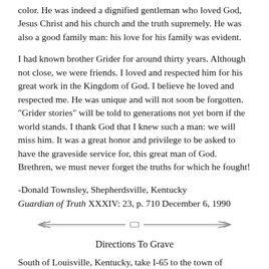color. He was indeed a dignified gentleman who loved God, Jesus Christ and his church and the truth supremely. He was also a good family man: his love for his family was evident.
I had known brother Grider for around thirty years. Although not close, we were friends. I loved and respected him for his great work in the Kingdom of God. I believe he loved and respected me. He was unique and will not soon be forgotten. "Grider stories" will be told to generations not yet born if the world stands. I thank God that I knew such a man: we will miss him. It was a great honor and privilege to be asked to have the graveside service for, this great man of God. Brethren, we must never forget the truths for which he fought!
-Donald Townsley, Shepherdsville, Kentucky
Guardian of Truth XXXIV: 23, p. 710 December 6, 1990
[Figure (illustration): Decorative horizontal divider with ornamental arrow/flourish design]
Directions To Grave
South of Louisville, Kentucky, take I-65 to the town of Brooks. Take exit to John Harper Hwy./ Hwy. 1526 to the east. Cross N. Preston Hwy., and take the next right on Lodie Drive. Enter the Hebron Cemetery on the left. Go to the fourth right turn and stop the car. Look to your left. The Grider Family plot is in